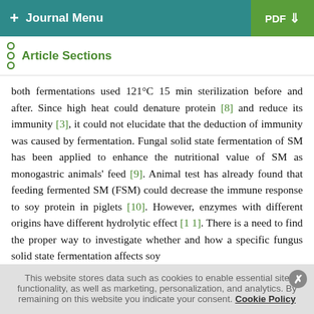+ Journal Menu | PDF ↓
Article Sections
both fermentations used 121°C 15 min sterilization before and after. Since high heat could denature protein [8] and reduce its immunity [3], it could not elucidate that the deduction of immunity was caused by fermentation. Fungal solid state fermentation of SM has been applied to enhance the nutritional value of SM as monogastric animals' feed [9]. Animal test has already found that feeding fermented SM (FSM) could decrease the immune response to soy protein in piglets [10]. However, enzymes with different origins have different hydrolytic effect [11]. There is a need to find the proper way to investigate whether and how a specific fungus solid state fermentation affects soy
This website stores data such as cookies to enable essential site functionality, as well as marketing, personalization, and analytics. By remaining on this website you indicate your consent. Cookie Policy